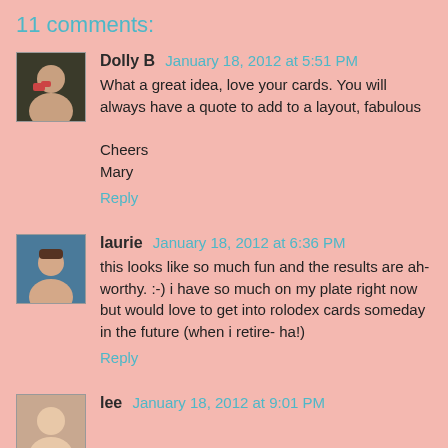11 comments:
Dolly B  January 18, 2012 at 5:51 PM

What a great idea, love your cards. You will always have a quote to add to a layout, fabulous

Cheers
Mary

Reply
laurie  January 18, 2012 at 6:36 PM

this looks like so much fun and the results are ah-worthy. :-) i have so much on my plate right now but would love to get into rolodex cards someday in the future (when i retire- ha!)

Reply
lee  January 18, 2012 at 9:01 PM